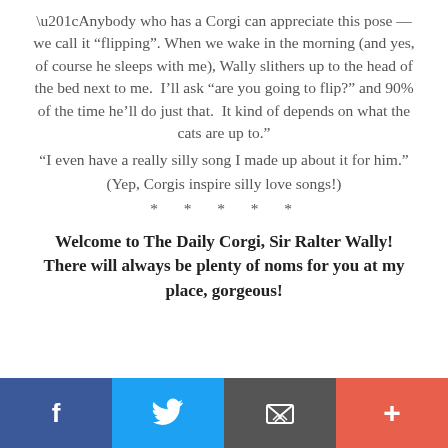“Anybody who has a Corgi can appreciate this pose — we call it “flipping”. When we wake in the morning (and yes, of course he sleeps with me), Wally slithers up to the head of the bed next to me.  I’ll ask “are you going to flip?” and 90% of the time he’ll do just that.  It kind of depends on what the cats are up to.”
“I even have a really silly song I made up about it for him.”
(Yep, Corgis inspire silly love songs!)
* * * * *
Welcome to The Daily Corgi, Sir Ralter Wally! There will always be plenty of noms for you at my place, gorgeous!
[Social share bar: Facebook, Twitter, Email, Plus]